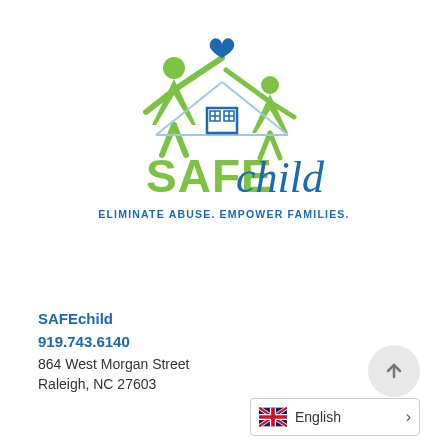[Figure (logo): SAFEchild logo: two green figures (adult and child) with arms raised forming a house shape with a blue heart above, a blue house icon in the center, green text 'SAFE' and blue cursive 'child', blue tagline 'ELIMINATE ABUSE. EMPOWER FAMILIES.']
SAFEchild
919.743.6140
864 West Morgan Street
Raleigh, NC 27603